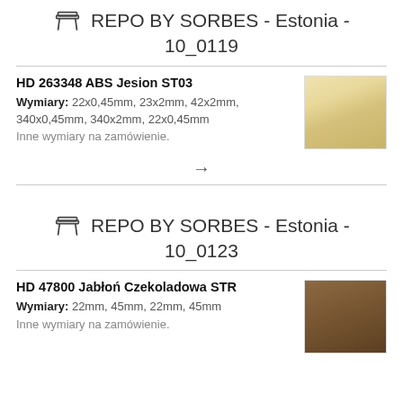REPO BY SORBES - Estonia - 10_0119
HD 263348 ABS Jesion ST03
Wymiary: 22x0,45mm, 23x2mm, 42x2mm, 340x0,45mm, 340x2mm, 22x0,45mm
Inne wymiary na zamówienie.
[Figure (photo): Wood texture swatch - light ash/jesion color]
REPO BY SORBES - Estonia - 10_0123
HD 47800 Jabłoń Czekoladowa STR
Wymiary: 22mm, 45mm, 22mm, 45mm
Inne wymiary na zamówienie.
[Figure (photo): Wood texture swatch - dark chocolate apple/jablon color]